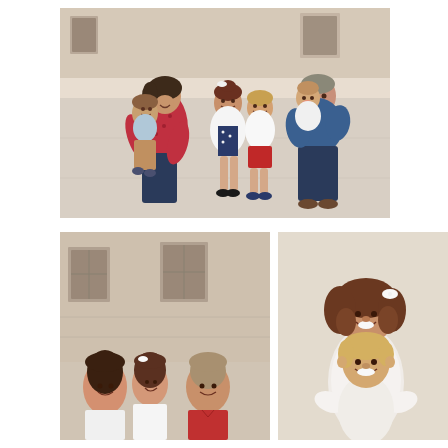[Figure (photo): Family portrait outdoors on pavement in front of a stone building. A woman in red polka dot top kneels hugging a toddler in tan pants; a girl in white cardigan and navy polka dot dress stands in the center smiling; a boy in white shirt and red shorts stands next to her; a man in blue shirt crouches holding a baby in white. All are smiling and grouped together.]
[Figure (photo): Partial family portrait in front of a stone building with windows. A woman, young girl, boy, and man (in red polo) are visible from roughly the shoulders up, standing together and smiling.]
[Figure (photo): Close-up portrait of an older girl with curly brown hair wearing a white bow, hugging a younger blonde boy from behind. Both are smiling at the camera against a light background.]